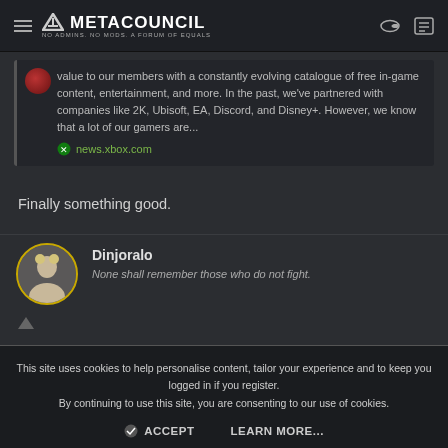METACOUNCIL — NO ADMINS. NO MODS. A FORUM OF EQUALS
value to our members with a constantly evolving catalogue of free in-game content, entertainment, and more. In the past, we've partnered with companies like 2K, Ubisoft, EA, Discord, and Disney+. However, we know that a lot of our gamers are...  news.xbox.com
Finally something good.
Dinjoralo
None shall remember those who do not fight.
This site uses cookies to help personalise content, tailor your experience and to keep you logged in if you register. By continuing to use this site, you are consenting to our use of cookies.
ACCEPT   LEARN MORE...